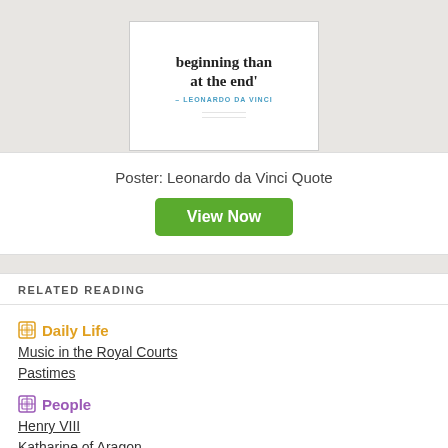[Figure (illustration): Partial view of a poster showing a Leonardo da Vinci quote: 'beginning than at the end'' with attribution '- LEONARDO DA VINCI' in teal lettering on white background]
Poster: Leonardo da Vinci Quote
View Now
RELATED READING
Daily Life
Music in the Royal Courts
Pastimes
People
Henry VIII
Katharine of Aragon